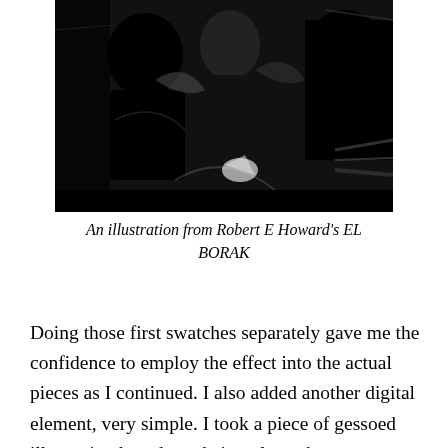[Figure (illustration): A black and white illustration showing dramatic figures in an action scene, from Robert E Howard's EL BORAK.]
An illustration from Robert E Howard's EL BORAK
Doing those first swatches separately gave me the confidence to employ the effect into the actual pieces as I continued. I also added another digital element, very simple. I took a piece of gessoed illustration board, made it real rough so you could see all the little back and forth chaotic brushstrokes and then scanned it. Then I inverted it so it was mostly black with all the tiny little bits in the li...